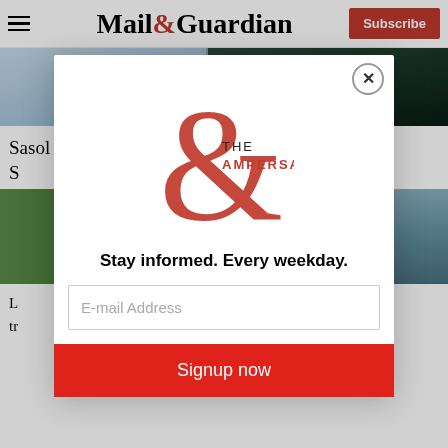Mail&Guardian | Subscribe
[Figure (photo): Sasol logo with blue molecular graphic on left, industrial/corporate interior on right]
Sasol in the dock for environmental degradation at S...
[Figure (photo): Aerial or landscape view with green vegetation and water]
L... tr...
[Figure (infographic): The Ampersand newsletter signup modal overlay with logo, tagline 'Stay informed. Every weekday.', email input, and Signup now button]